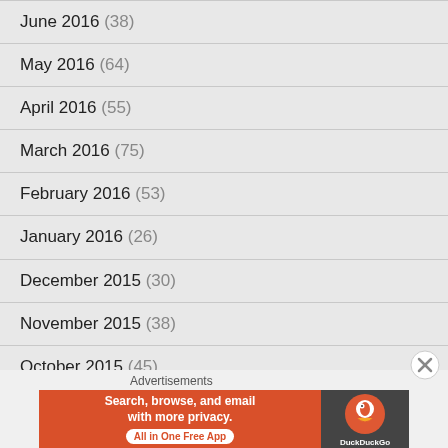June 2016 (38)
May 2016 (64)
April 2016 (55)
March 2016 (75)
February 2016 (53)
January 2016 (26)
December 2015 (30)
November 2015 (38)
October 2015 (45)
September 2015 (8)
Advertisements
[Figure (other): DuckDuckGo advertisement banner: 'Search, browse, and email with more privacy. All in One Free App' with DuckDuckGo logo on dark background]